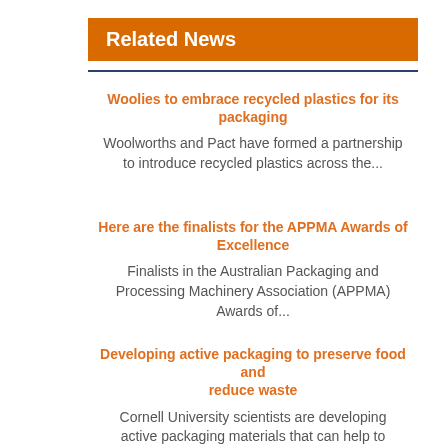Related News
Woolies to embrace recycled plastics for its packaging
Woolworths and Pact have formed a partnership to introduce recycled plastics across the...
Here are the finalists for the APPMA Awards of Excellence
Finalists in the Australian Packaging and Processing Machinery Association (APPMA) Awards of...
Developing active packaging to preserve food and reduce waste
Cornell University scientists are developing active packaging materials that can help to